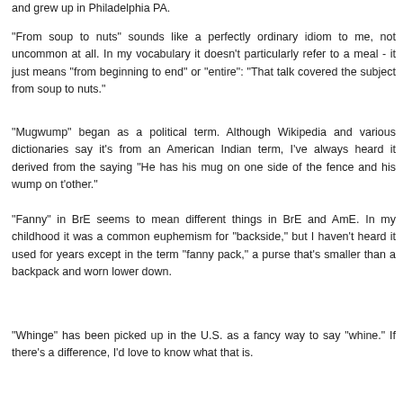and grew up in Philadelphia PA.
"From soup to nuts" sounds like a perfectly ordinary idiom to me, not uncommon at all. In my vocabulary it doesn't particularly refer to a meal - it just means "from beginning to end" or "entire": "That talk covered the subject from soup to nuts."
"Mugwump" began as a political term. Although Wikipedia and various dictionaries say it's from an American Indian term, I've always heard it derived from the saying "He has his mug on one side of the fence and his wump on t'other."
"Fanny" in BrE seems to mean different things in BrE and AmE. In my childhood it was a common euphemism for "backside," but I haven't heard it used for years except in the term "fanny pack," a purse that's smaller than a backpack and worn lower down.
"Whinge" has been picked up in the U.S. as a fancy way to say "whine." If there's a difference, I'd love to know what that is.